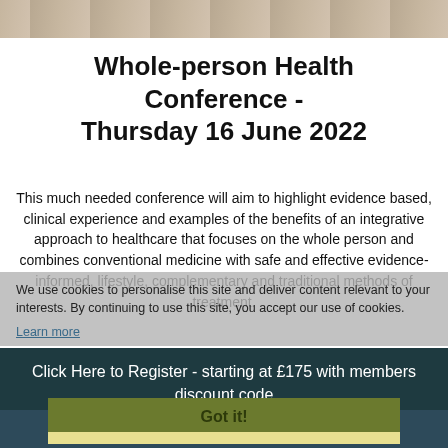[Figure (photo): Top banner photo strip showing hands or natural imagery]
Whole-person Health Conference - Thursday 16 June 2022
This much needed conference will aim to highlight evidence based, clinical experience and examples of the benefits of an integrative approach to healthcare that focuses on the whole person and combines conventional medicine with safe and effective evidence-informed, lifestyle, complementary and traditional methods of treatment.
We use cookies to personalise content and ads, to provide social media features and to analyse our traffic. We also share information about your use of our site with our social media, advertising and analytics partners who may combine it with other information that you've provided to them or that they've collected from your use of their services. Cookies also help us improve our site and deliver content relevant to your interests. By continuing to use this site, you accept our use of cookies.
Learn more
Click Here to Register - starting at £175 with members discount code
Got it!
09:00